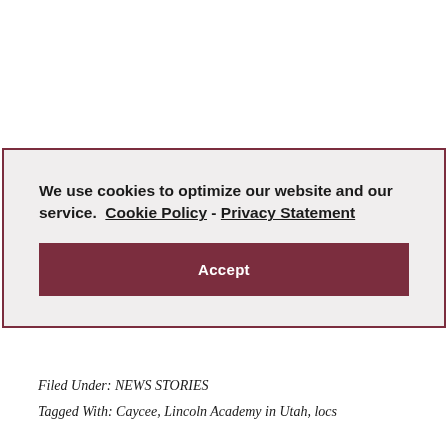We use cookies to optimize our website and our service.  Cookie Policy  -  Privacy Statement
Accept
Filed Under: NEWS STORIES
Tagged With: Caycee, Lincoln Academy in Utah, locs